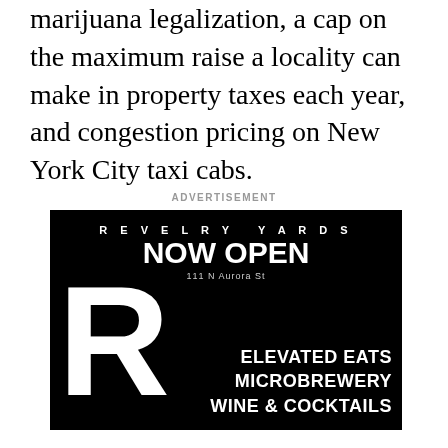marijuana legalization, a cap on the maximum raise a locality can make in property taxes each year, and congestion pricing on New York City taxi cabs.
ADVERTISEMENT
[Figure (other): Advertisement for Revelry Yards, a venue now open at 111 N Aurora St. Features a large white R logo on black background with text: ELEVATED EATS, MICROBREWERY, WINE & COCKTAILS]